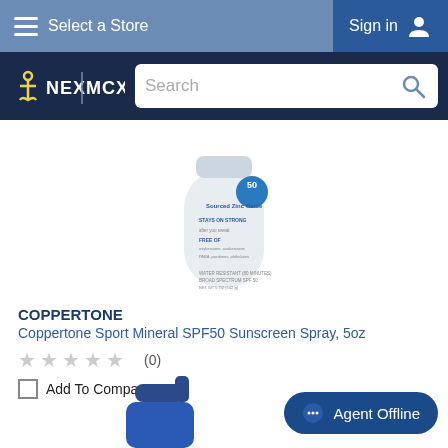Select a Store | Sign in
[Figure (logo): NEX / MCX logo on dark navy background]
[Figure (photo): Coppertone Sport Mineral SPF50 Sunscreen Spray bottle, white cylindrical container with blue text]
COPPERTONE
Coppertone Sport Mineral SPF50 Sunscreen Spray, 5oz
★★★★★ (0)
Add To Compare
[Figure (photo): Blue pump bottle partially visible at bottom of page]
Agent Offline